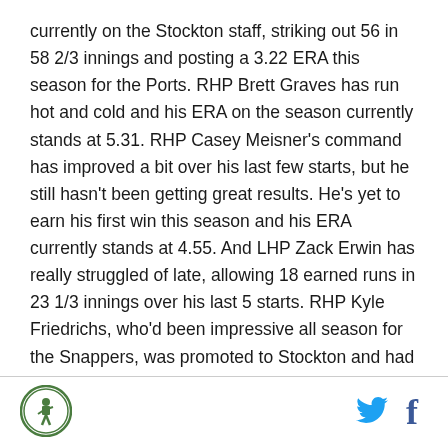currently on the Stockton staff, striking out 56 in 58 2/3 innings and posting a 3.22 ERA this season for the Ports. RHP Brett Graves has run hot and cold and his ERA on the season currently stands at 5.31. RHP Casey Meisner's command has improved a bit over his last few starts, but he still hasn't been getting great results. He's yet to earn his first win this season and his ERA currently stands at 4.55. And LHP Zack Erwin has really struggled of late, allowing 18 earned runs in 23 1/3 innings over his last 5 starts. RHP Kyle Friedrichs, who'd been impressive all season for the Snappers, was promoted to Stockton and had a disastrous debut last Monday, giving up 9 runs while lasting just 1 2/3 innings. But he fared much better in
[Figure (logo): Circular sports team logo with green border]
[Figure (logo): Twitter bird icon in blue]
[Figure (logo): Facebook f icon in blue]